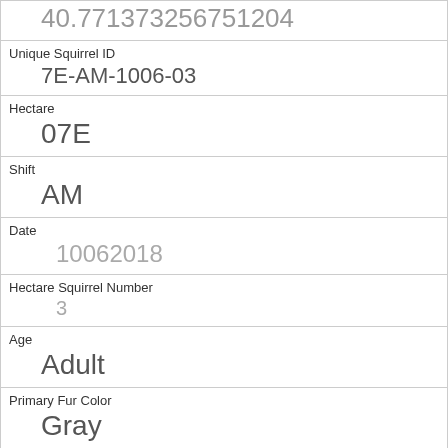| 40.771373256751204 |
| Unique Squirrel ID | 7E-AM-1006-03 |
| Hectare | 07E |
| Shift | AM |
| Date | 10062018 |
| Hectare Squirrel Number | 3 |
| Age | Adult |
| Primary Fur Color | Gray |
| Highlight Fur Color |  |
| Combination of Primary and Highlight Color | Gray+ |
| Color notes |  |